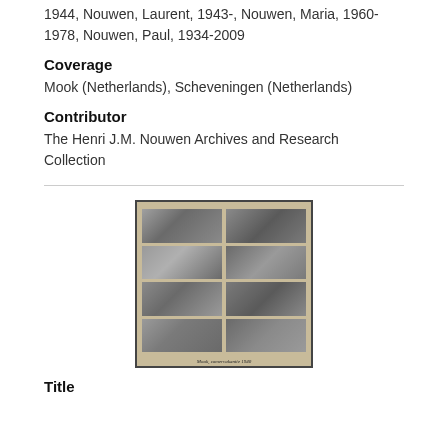1944, Nouwen, Laurent, 1943-, Nouwen, Maria, 1960-1978, Nouwen, Paul, 1934-2009
Coverage
Mook (Netherlands), Scheveningen (Netherlands)
Contributor
The Henri J.M. Nouwen Archives and Research Collection
[Figure (photo): A scrapbook or photo album page showing eight black-and-white photographs arranged in four rows of two, mounted on a beige/tan background. The photos appear to show family outdoor scenes. A handwritten caption appears at the bottom reading what appears to be 'Mook, zomervakantie 1940' or similar.]
Title